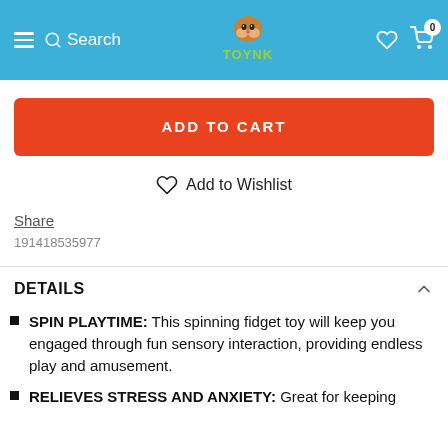TOYNK — Search, Cart (0)
[Figure (screenshot): ADD TO CART button in orange-red]
Add to Wishlist
Share
191418535977
DETAILS
SPIN PLAYTIME: This spinning fidget toy will keep you engaged through fun sensory interaction, providing endless play and amusement.
RELIEVES STRESS AND ANXIETY: Great for keeping